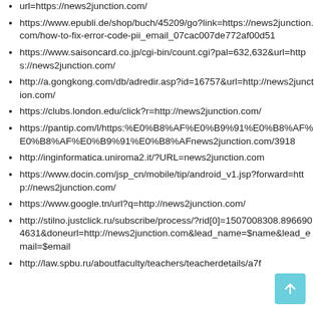url=https://news2junction.com/
https://www.epubli.de/shop/buch/45209/go?link=https://news2junction.com/how-to-fix-error-code-pii_email_07cac007de772af00d51
https://www.saisoncard.co.jp/cgi-bin/count.cgi?pal=632,632&url=https://news2junction.com/
http://a.gongkong.com/db/adredir.asp?id=16757&url=http://news2junction.com/
https://clubs.london.edu/click?r=http://news2junction.com/
https://pantip.com/l/https:%E0%B8%AF%E0%B9%91%E0%B8%AF%E0%B8%AF%E0%B9%91%E0%B8%AFnews2junction.com/3918
http://inginformatica.uniroma2.it/?URL=news2junction.com
https://www.docin.com/jsp_cn/mobile/tip/android_v1.jsp?forward=http://news2junction.com/
https://www.google.tn/url?q=http://news2junction.com/
http://stilno.justclick.ru/subscribe/process/?rid[0]=1507008308.89669046318&doneurl=http://news2junction.com&lead_name=$name&lead_email=$email
http://law.spbu.ru/aboutfaculty/teachers/teacherdetails/a7f